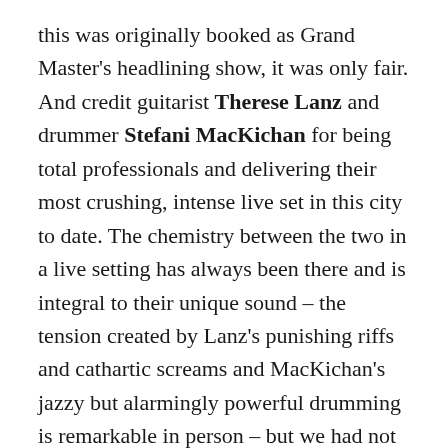this was originally booked as Grand Master's headlining show, it was only fair. And credit guitarist Therese Lanz and drummer Stefani MacKichan for being total professionals and delivering their most crushing, intense live set in this city to date. The chemistry between the two in a live setting has always been there and is integral to their unique sound – the tension created by Lanz's punishing riffs and cathartic screams and MacKichan's jazzy but alarmingly powerful drumming is remarkable in person – but we had not heard them sound this devastatingly heavy before. Lanz's much-ballyhooed new baritone guitar, custom made by the great Kurt Ballou, boasts both a bass and guitar pickup that allows Lanz to make her already massive riffs sound even heavier. Couple that with the fact that their new Sanford Parker-produced album The Pilgrimage